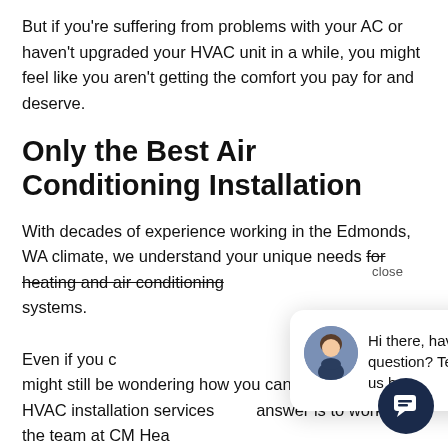But if you're suffering from problems with your AC or haven't upgraded your HVAC unit in a while, you might feel like you aren't getting the comfort you pay for and deserve.
Only the Best Air Conditioning Installation
With decades of experience working in the Edmonds, WA climate, we understand your unique needs for heating and air conditioning systems.
Even if you already have a well-insulated home, you might still be wondering how you can get the very best HVAC installation services. The answer is to work with the team at CM Heat. Our technicians will assist you with anything you
[Figure (other): Chat popup widget with a female representative avatar and text 'Hi there, have a question? Text us here.' with a close link and a dark circular chat button in the bottom right.]